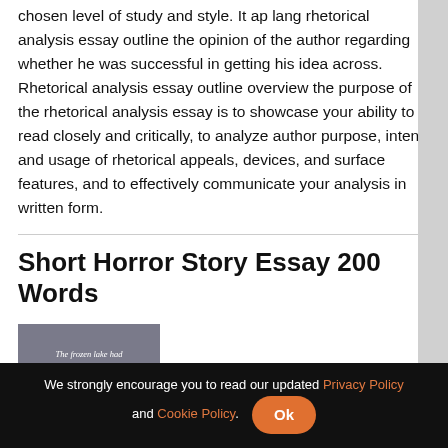chosen level of study and style. It ap lang rhetorical analysis essay outline the opinion of the author regarding whether he was successful in getting his idea across. Rhetorical analysis essay outline overview the purpose of the rhetorical analysis essay is to showcase your ability to read closely and critically, to analyze author purpose, intent, and usage of rhetorical appeals, devices, and surface features, and to effectively communicate your analysis in written form.
Short Horror Story Essay 200 Words
[Figure (illustration): Dark grey book or card image with white italic text reading: 'The frozen lake had finally cracked open after all these frigid years.' and partial text at bottom.]
We strongly encourage you to read our updated Privacy Policy and Cookie Policy. Ok